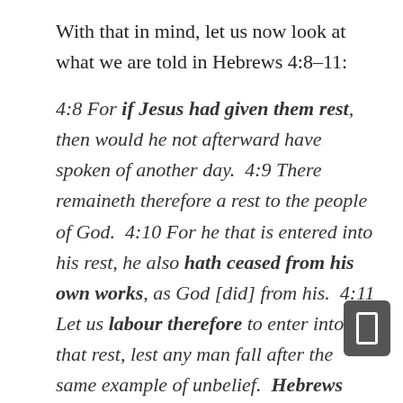With that in mind, let us now look at what we are told in Hebrews 4:8–11:
4:8 For if Jesus had given them rest, then would he not afterward have spoken of another day.  4:9 There remaineth therefore a rest to the people of God.  4:10 For he that is entered into his rest, he also hath ceased from his own works, as God [did] from his.  4:11 Let us labour therefore to enter into that rest, lest any man fall after the same example of unbelief.  Hebrews 4:8–11